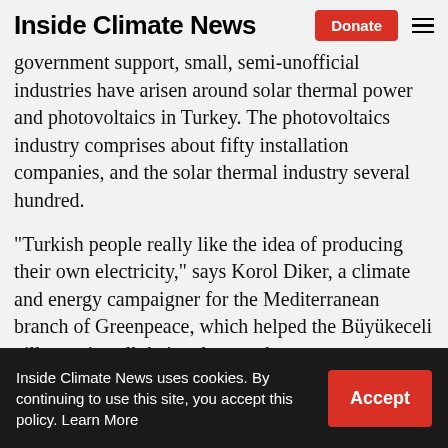Inside Climate News
government support, small, semi-unofficial industries have arisen around solar thermal power and photovoltaics in Turkey. The photovoltaics industry comprises about fifty installation companies, and the solar thermal industry several hundred.
“Turkish people really like the idea of producing their own electricity,” says Korol Diker, a climate and energy campaigner for the Mediterranean branch of Greenpeace, which helped the Büykükeceli villagers install their solar panels.
Inside Climate News uses cookies. By continuing to use this site, you accept this policy. Learn More